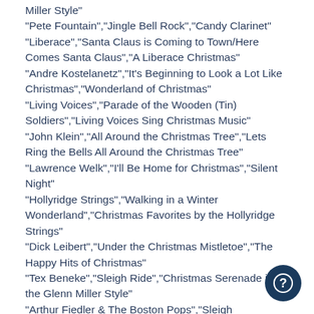Miller Style"
"Pete Fountain","Jingle Bell Rock","Candy Clarinet"
"Liberace","Santa Claus is Coming to Town/Here Comes Santa Claus","A Liberace Christmas"
"Andre Kostelanetz","It's Beginning to Look a Lot Like Christmas","Wonderland of Christmas"
"Living Voices","Parade of the Wooden (Tin) Soldiers","Living Voices Sing Christmas Music"
"John Klein","All Around the Christmas Tree","Lets Ring the Bells All Around the Christmas Tree"
"Lawrence Welk","I'll Be Home for Christmas","Silent Night"
"Hollyridge Strings","Walking in a Winter Wonderland","Christmas Favorites by the Hollyridge Strings"
"Dick Leibert","Under the Christmas Mistletoe","The Happy Hits of Christmas"
"Tex Beneke","Sleigh Ride","Christmas Serenade in the Glenn Miller Style"
"Arthur Fiedler & The Boston Pops","Sleigh Ride","Pops Christmas Party"
"Eddie Dunstedter","Ring, Christmas Bells (Ukrainian Bell Carol)","The Bells of Christmas Chime Again"
"The Wayne King Orchestra","Let it Snow! Let it Snow! Let it Snow!"